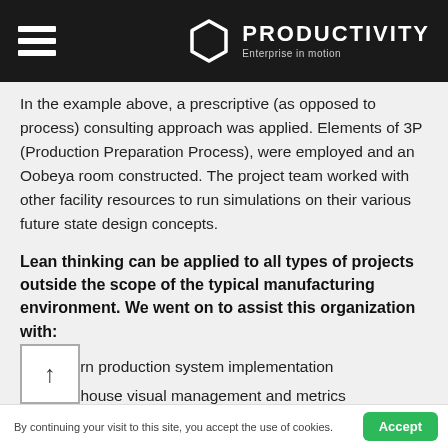PRODUCTIVITY — Enterprise in motion
In the example above, a prescriptive (as opposed to process) consulting approach was applied. Elements of 3P (Production Preparation Process), were employed and an Oobeya room constructed. The project team worked with other facility resources to run simulations on their various future state design concepts.
Lean thinking can be applied to all types of projects outside the scope of the typical manufacturing environment. We went on to assist this organization with:
Pattern production system implementation
Warehouse visual management and metrics implementation
Warehouse space productivity improvement projects
Configuration (continues on next page)
By continuing your visit to this site, you accept the use of cookies.